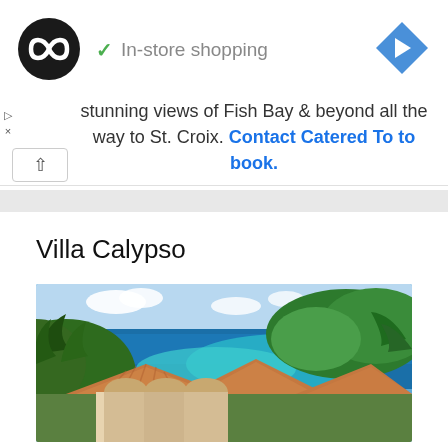[Figure (logo): Black circular logo with double infinity/loop symbol in white, representing an ad network]
✓  In-store shopping
[Figure (other): Blue diamond navigation arrow icon pointing right]
▷
×
stunning views of Fish Bay & beyond all the way to St. Croix. Contact Catered To to book.
Villa Calypso
[Figure (photo): Aerial photo of a Caribbean villa with terracotta tile roofs, lush tropical greenery including palm trees, and a stunning turquoise and deep blue ocean bay with a green island headland in the background under a partly cloudy sky]